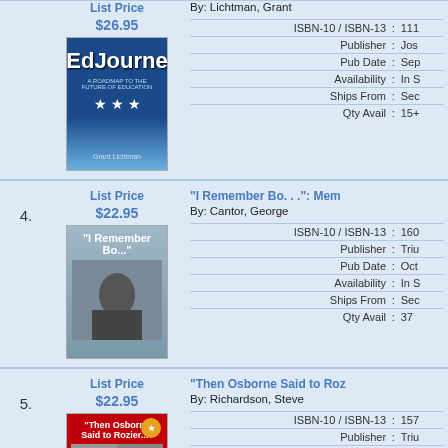List Price $26.95
By: Lichtman, Grant
| Field | Sep | Value |
| --- | --- | --- |
| ISBN-10 / ISBN-13 | : | 111... |
| Publisher | : | Jos... |
| Pub Date | : | Sep... |
| Availability | : | In S... |
| Ships From | : | Sec... |
| Qty Avail | : | 15+ |
[Figure (photo): Book cover: #EdJourney - A Roadmap to the Future of Education by Grant Lichtman]
4. "I Remember Bo...": Mem... By: Cantor, George
List Price $22.95
| Field | Sep | Value |
| --- | --- | --- |
| ISBN-10 / ISBN-13 | : | 160... |
| Publisher | : | Triu... |
| Pub Date | : | Oct... |
| Availability | : | In S... |
| Ships From | : | Sec... |
| Qty Avail | : | 37 |
[Figure (photo): Book cover: I Remember Bo...]
5. "Then Osborne Said to Roz..." By: Richardson, Steve
List Price $22.95
| Field | Sep | Value |
| --- | --- | --- |
| ISBN-10 / ISBN-13 | : | 157... |
| Publisher | : | Triu... |
| Pub Date | : | July... |
| Availability | : | Out... |
[Figure (photo): Book cover: Then Osborne Said to Rozier...]